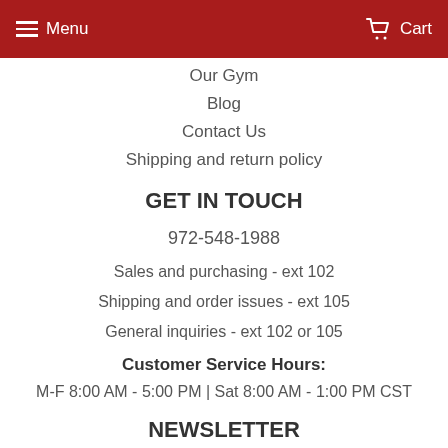Menu  Cart
Our Gym
Blog
Contact Us
Shipping and return policy
GET IN TOUCH
972-548-1988
Sales and purchasing - ext 102
Shipping and order issues - ext 105
General inquiries - ext 102 or 105
Customer Service Hours:
M-F 8:00 AM - 5:00 PM | Sat 8:00 AM - 1:00 PM CST
NEWSLETTER